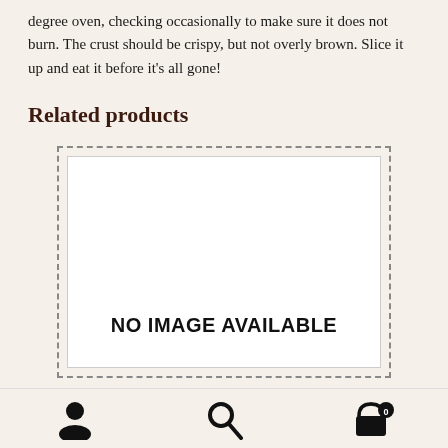degree oven, checking occasionally to make sure it does not burn. The crust should be crispy, but not overly brown. Slice it up and eat it before it's all gone!
Related products
[Figure (other): Product image placeholder box with dashed border and text 'NO IMAGE AVAILABLE' in bold]
Navigation footer with user icon, search icon, and cart icon